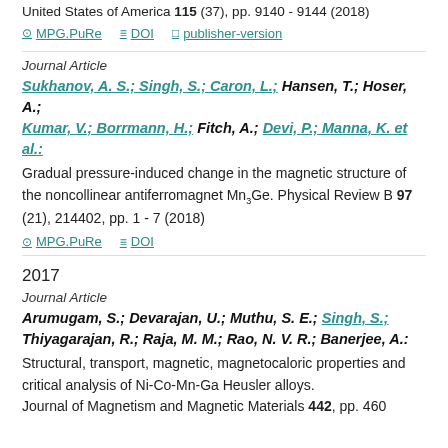United States of America 115 (37), pp. 9140 - 9144 (2018)
⊙ MPG.PuRe   ≡ DOI   □ publisher-version
Journal Article
Sukhanov, A. S.; Singh, S.; Caron, L.; Hansen, T.; Hoser, A.; Kumar, V.; Borrmann, H.; Fitch, A.; Devi, P.; Manna, K. et al.:
Gradual pressure-induced change in the magnetic structure of the noncollinear antiferromagnet Mn3Ge. Physical Review B 97 (21), 214402, pp. 1 - 7 (2018)
⊙ MPG.PuRe   ≡ DOI
2017
Journal Article
Arumugam, S.; Devarajan, U.; Muthu, S. E.; Singh, S.; Thiyagarajan, R.; Raja, M. M.; Rao, N. V. R.; Banerjee, A.:
Structural, transport, magnetic, magnetocaloric properties and critical analysis of Ni-Co-Mn-Ga Heusler alloys. Journal of Magnetism and Magnetic Materials 442, pp. 460